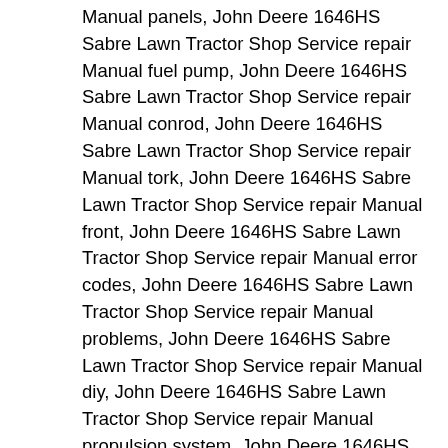Manual panels, John Deere 1646HS Sabre Lawn Tractor Shop Service repair Manual fuel pump, John Deere 1646HS Sabre Lawn Tractor Shop Service repair Manual conrod, John Deere 1646HS Sabre Lawn Tractor Shop Service repair Manual tork, John Deere 1646HS Sabre Lawn Tractor Shop Service repair Manual front, John Deere 1646HS Sabre Lawn Tractor Shop Service repair Manual error codes, John Deere 1646HS Sabre Lawn Tractor Shop Service repair Manual problems, John Deere 1646HS Sabre Lawn Tractor Shop Service repair Manual diy, John Deere 1646HS Sabre Lawn Tractor Shop Service repair Manual propulsion system, John Deere 1646HS Sabre Lawn Tractor Shop Service repair Manual muffler, John Deere 1646HS Sabre Lawn Tractor Shop Service repair Manual steering, John Deere 1646HS Sabre Lawn Tractor Shop Service repair Manual hull, John Deere 1646HS Sabre Lawn Tractor Shop Service repair Manual